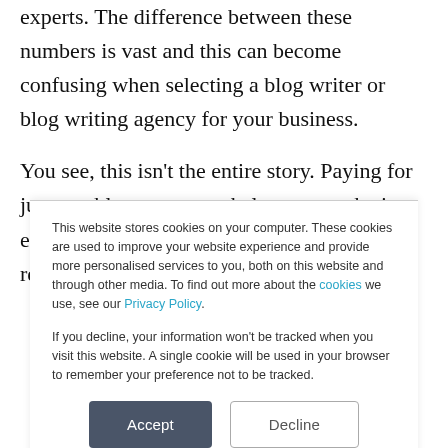experts. The difference between these numbers is vast and this can become confusing when selecting a blog writer or blog writing agency for your business.
You see, this isn't the entire story. Paying for just one blog post wont help your marketing efforts and will certainly not provide the return on
This website stores cookies on your computer. These cookies are used to improve your website experience and provide more personalised services to you, both on this website and through other media. To find out more about the cookies we use, see our Privacy Policy.
If you decline, your information won't be tracked when you visit this website. A single cookie will be used in your browser to remember your preference not to be tracked.